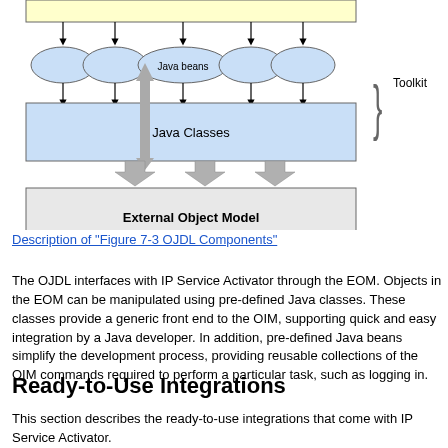[Figure (engineering-diagram): OJDL Components diagram showing Java beans (ovals) connected via arrows to a yellow rectangle at top, feeding into a blue Java Classes box, then three gray arrows pointing down to a light gray External Object Model box. A curly brace on the right labels the Java beans and Java Classes section as 'Toolkit'.]
Description of "Figure 7-3 OJDL Components"
The OJDL interfaces with IP Service Activator through the EOM. Objects in the EOM can be manipulated using pre-defined Java classes. These classes provide a generic front end to the OIM, supporting quick and easy integration by a Java developer. In addition, pre-defined Java beans simplify the development process, providing reusable collections of the OIM commands required to perform a particular task, such as logging in.
Ready-to-Use Integrations
This section describes the ready-to-use integrations that come with IP Service Activator.